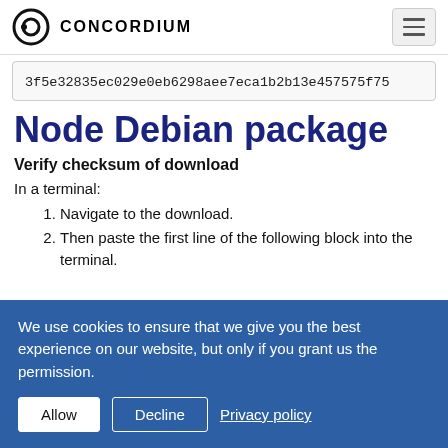CONCORDIUM
3f5e32835ec029e0eb6298aee7eca1b2b13e457575f75
Node Debian package
Verify checksum of download
In a terminal:
Navigate to the download.
Then paste the first line of the following block into the terminal.
We use cookies to ensure that we give you the best experience on our website, but only if you grant us the permission.